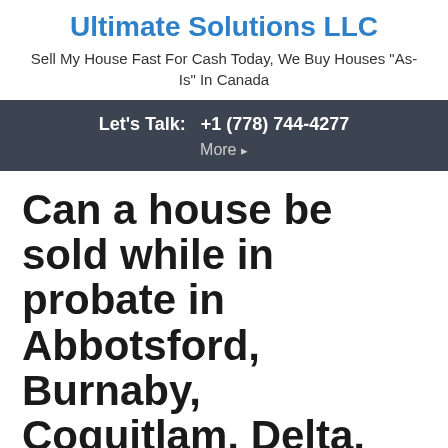Ultimate Solutions LLC
Sell My House Fast For Cash Today, We Buy Houses "As-Is" In Canada
Let's Talk:   +1 (778) 744-4277
More ▸
Can a house be sold while in probate in Abbotsford, Burnaby, Coquitlam, Delta, Kelowna, Langley, New Westminster, Maple